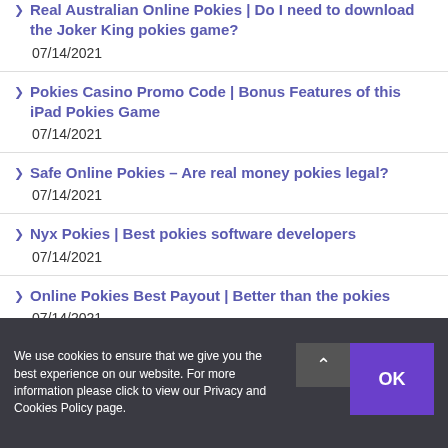Real Australian Online Pokies | Do I need to download the Joker King pokies game?
07/14/2021
Pokies Casino Promo Code | Bonus Features of this iPad Pokies Game
07/14/2021
Safe Online Pokies – Are real money pokies legal?
07/14/2021
Nyx Pokies | Best pokies software developers
07/14/2021
Online Pokies Best Payout | Better than the pokies
07/14/2021
We use cookies to ensure that we give you the best experience on our website. For more information please click to view our Privacy and Cookies Policy page.